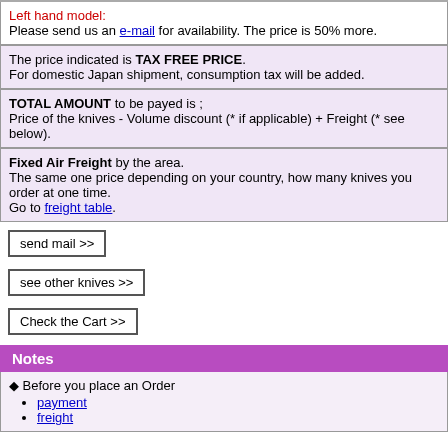Left hand model: Please send us an e-mail for availability. The price is 50% more.
The price indicated is TAX FREE PRICE. For domestic Japan shipment, consumption tax will be added.
TOTAL AMOUNT to be payed is ; Price of the knives - Volume discount (* if applicable) + Freight (* see below).
Fixed Air Freight by the area. The same one price depending on your country, how many knives you order at one time. Go to freight table.
send mail >>
see other knives >>
Check the Cart >>
Notes
Before you place an Order
payment
freight